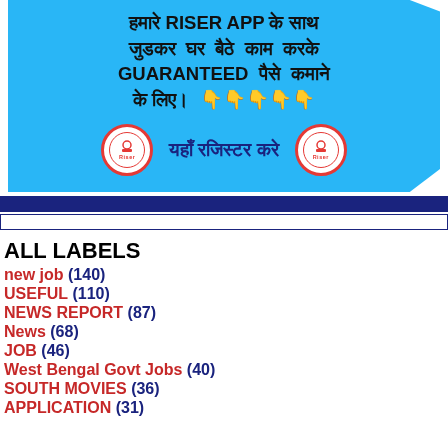[Figure (other): Advertisement banner for RISER APP in Hindi with light blue background. Text reads: हमारे RISER APP के साथ जुडकर घर बैठे काम करके GUARANTEED पैसे कमाने के लिए। 👇👇👇👇👇. Below is a registration row with two circular RISER logos and text 'यहाँ रजिस्टर करे'.]
ALL LABELS
new job (140)
USEFUL (110)
NEWS REPORT (87)
News (68)
JOB (46)
West Bengal Govt Jobs (40)
SOUTH MOVIES (36)
APPLICATION (31)